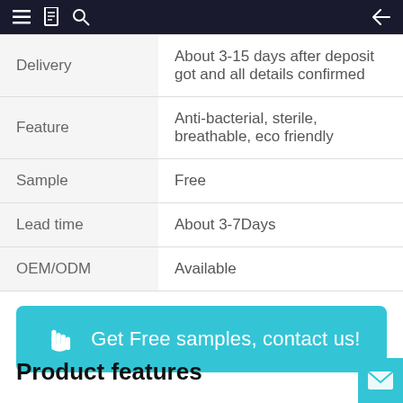navigation bar with menu, book, search, and back icons
| Delivery | About 3-15 days after deposit got and all details confirmed |
| Feature | Anti-bacterial, sterile, breathable, eco friendly |
| Sample | Free |
| Lead time | About 3-7Days |
| OEM/ODM | Available |
[Figure (infographic): Teal call-to-action button with hand icon and text: Get Free samples, contact us!]
Product features